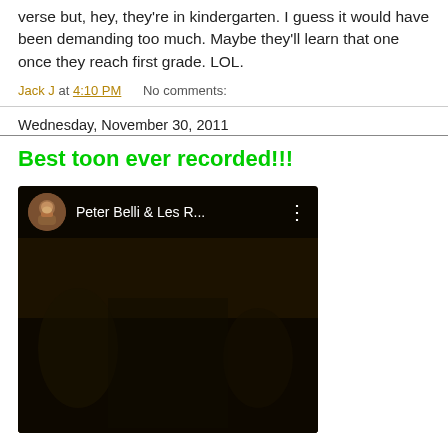verse but, hey, they're in kindergarten. I guess it would have been demanding too much. Maybe they'll learn that one once they reach first grade. LOL.
Jack J at 4:10 PM    No comments:
Wednesday, November 30, 2011
Best toon ever recorded!!!
[Figure (screenshot): YouTube video thumbnail showing Peter Belli & Les R... with a play button overlay and a bearded man avatar icon]